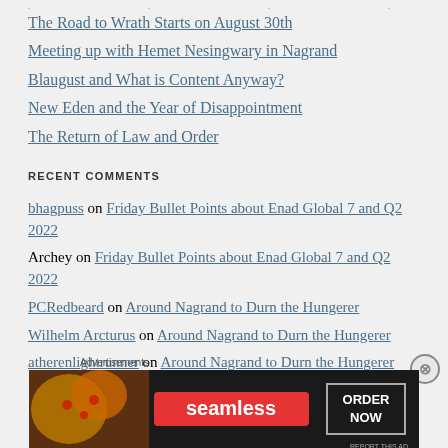The Road to Wrath Starts on August 30th
Meeting up with Hemet Nesingwary in Nagrand
Blaugust and What is Content Anyway?
New Eden and the Year of Disappointment
The Return of Law and Order
RECENT COMMENTS
bhagpuss on Friday Bullet Points about Enad Global 7 and Q2 2022
Archey on Friday Bullet Points about Enad Global 7 and Q2 2022
PCRedbeard on Around Nagrand to Durn the Hungerer
Wilhelm Arcturus on Around Nagrand to Durn the Hungerer
atherenlightrunner on Around Nagrand to Durn the Hungerer
[Figure (screenshot): Seamless food delivery advertisement banner showing pizza and ORDER NOW button]